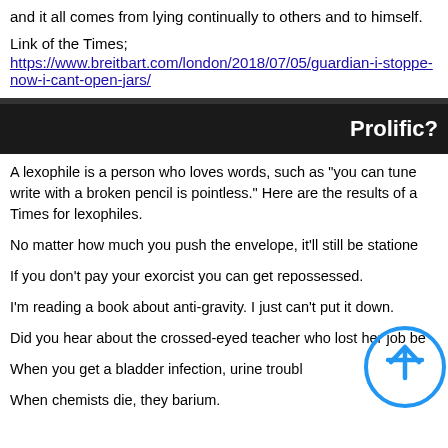and it all comes from lying continually to others and to himself.
Link of the Times;
https://www.breitbart.com/london/2018/07/05/guardian-i-stoppe-now-i-cant-open-jars/
Prolific?
A lexophile is a person who loves words, such as "you can tune a write with a broken pencil is pointless." Here are the results of a Times for lexophiles.
No matter how much you push the envelope, it'll still be statione
If you don't pay your exorcist you can get repossessed.
I'm reading a book about anti-gravity. I just can't put it down.
Did you hear about the crossed-eyed teacher who lost her job be
When you get a bladder infection, urine troubl
When chemists die, they barium.
[Figure (illustration): A blue circular scroll-to-top button with an upward arrow icon]